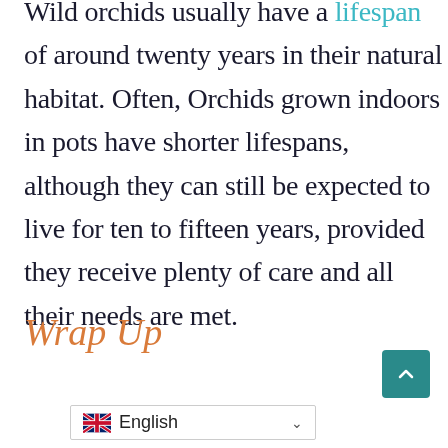Wild orchids usually have a lifespan of around twenty years in their natural habitat. Often, Orchids grown indoors in pots have shorter lifespans, although they can still be expected to live for ten to fifteen years, provided they receive plenty of care and all their needs are met.
Wrap Up